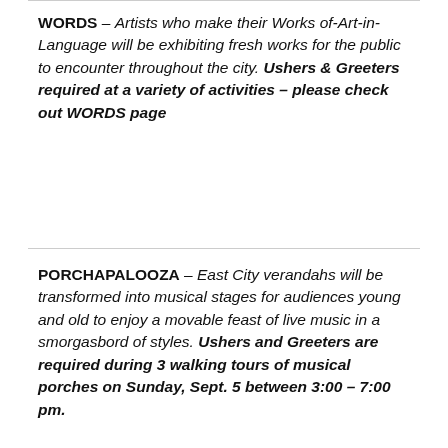WORDS – Artists who make their Works of-Art-in-Language will be exhibiting fresh works for the public to encounter throughout the city. Ushers & Greeters required at a variety of activities – please check out WORDS page
PORCHAPALOOZA – East City verandahs will be transformed into musical stages for audiences young and old to enjoy a movable feast of live music in a smorgasbord of styles. Ushers and Greeters are required during 3 walking tours of musical porches on Sunday, Sept. 5 between 3:00 – 7:00 pm.